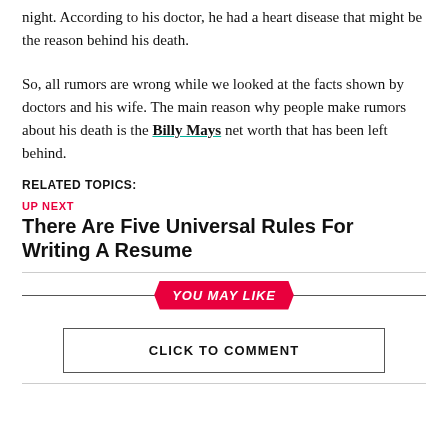night. According to his doctor, he had a heart disease that might be the reason behind his death.
So, all rumors are wrong while we looked at the facts shown by doctors and his wife. The main reason why people make rumors about his death is the Billy Mays net worth that has been left behind.
RELATED TOPICS:
UP NEXT
There Are Five Universal Rules For Writing A Resume
YOU MAY LIKE
CLICK TO COMMENT